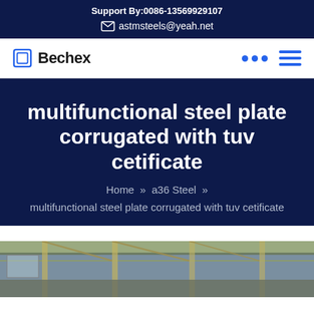Support By:0086-13569929107
astmsteels@yeah.net
Bechex
multifunctional steel plate corrugated with tuv cetificate
Home » a36 Steel »
multifunctional steel plate corrugated with tuv cetificate
[Figure (photo): Industrial steel manufacturing facility interior, showing steel structures and ceiling trusses]